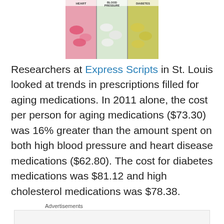[Figure (photo): A pill organizer box with sections labeled HEART, BLOOD PRESSURE, DIABETES, showing pink, white, and yellow/green pills in each compartment.]
Researchers at Express Scripts in St. Louis looked at trends in prescriptions filled for aging medications.  In 2011 alone, the cost per person for aging medications ($73.30) was 16% greater than the amount spent on both high blood pressure and heart disease medications ($62.80).  The cost for diabetes medications was $81.12 and high cholesterol medications was $78.38.
Advertisements
REPORT THIS AD
The research found that among these insured individuals use of drugs to treat the physical impact associated with